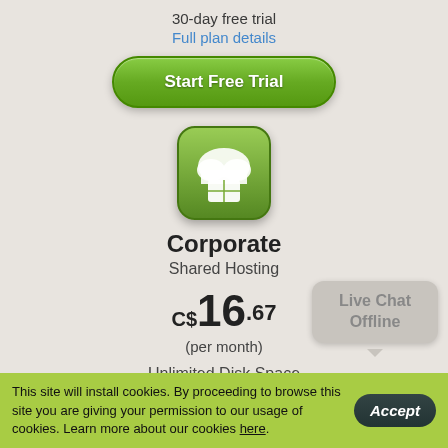30-day free trial
Full plan details
[Figure (illustration): Green rounded button labeled 'Start Free Trial']
[Figure (logo): Green rounded square icon with cloud and briefcase symbol]
Corporate
Shared Hosting
C$16.67
(per month)
Unlimited Disk Space
Unlimited Monthly Traffic
Live Chat Offline
This site will install cookies. By proceeding to browse this site you are giving your permission to our usage of cookies. Learn more about our cookies here.
Accept